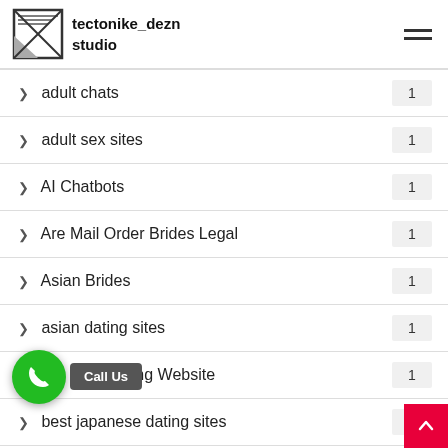tectonike_dezn studio
> adult chats  1
> adult sex sites  1
> AI Chatbots  1
> Are Mail Order Brides Legal  1
> Asian Brides  1
> asian dating sites  1
> t Dating Website  1
> best japanese dating sites  1